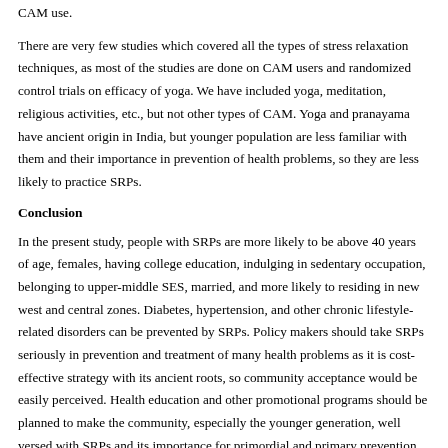CAM use.
There are very few studies which covered all the types of stress relaxation techniques, as most of the studies are done on CAM users and randomized control trials on efficacy of yoga. We have included yoga, meditation, religious activities, etc., but not other types of CAM. Yoga and pranayama have ancient origin in India, but younger population are less familiar with them and their importance in prevention of health problems, so they are less likely to practice SRPs.
Conclusion
In the present study, people with SRPs are more likely to be above 40 years of age, females, having college education, indulging in sedentary occupation, belonging to upper-middle SES, married, and more likely to residing in new west and central zones. Diabetes, hypertension, and other chronic lifestyle-related disorders can be prevented by SRPs. Policy makers should take SRPs seriously in prevention and treatment of many health problems as it is cost-effective strategy with its ancient roots, so community acceptance would be easily perceived. Health education and other promotional programs should be planned to make the community, especially the younger generation, well versed with SRPs and its importance for primordial and primary prevention of many currently prevalent